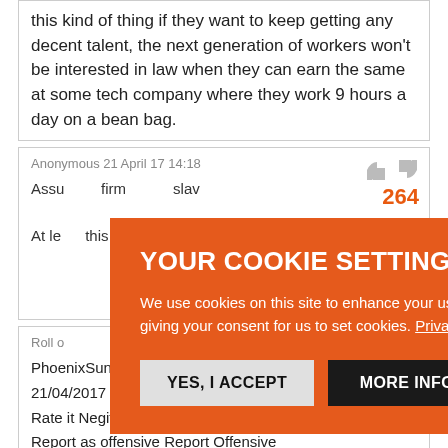this kind of thing if they want to keep getting any decent talent, the next generation of workers won't be interested in law when they can earn the same at some tech company where they work 9 hours a day on a bean bag.
Anonymous 21 April 17 14:18
264
Assu... firm... slav... At le... this... try to ca...
[Figure (infographic): Cookie consent overlay with orange background, title YOUR COOKIE SETTINGS, body text about cookie usage, Privacy Policy link, and two buttons: YES, I ACCEPT and MORE INFORMATION]
Roll o...
247  253
PhoenixSunsOutGunsOut
21/04/2017 11:51
Rate it Negitive Rating 0 Positive Rating
Report as offensive Report Offensive